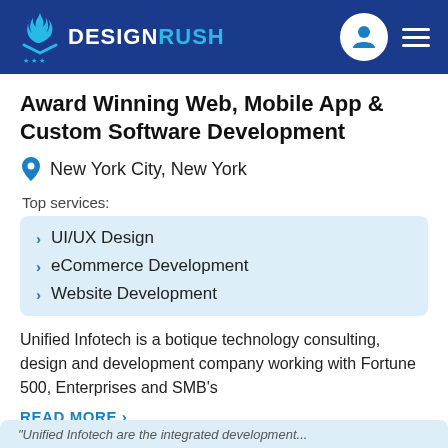DESIGNRUSH
Award Winning Web, Mobile App & Custom Software Development
New York City, New York
Top services:
UI/UX Design
eCommerce Development
Website Development
Unified Infotech is a botique technology consulting, design and development company working with Fortune 500, Enterprises and SMB's
READ MORE ›
100 - 249
$50/hr
$25,000 - $50,000
"Unified Infotech are the integrated development...